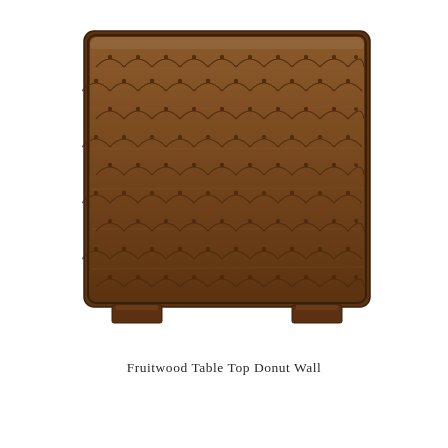[Figure (photo): A rectangular wooden wall panel or decorative chest/dresser in a fruitwood (warm brown) finish. The surface features a repeating carved or inlaid scallop/wave donut pattern across its entire face, arranged in horizontal rows. The piece rests on two short rectangular feet/legs at the bottom corners. The frame has slightly rounded corners.]
Fruitwood Table Top Donut Wall